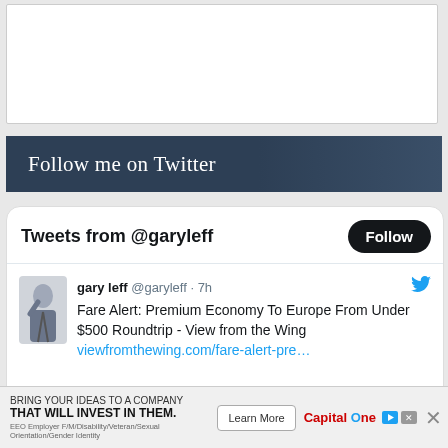[Figure (illustration): White advertisement banner area at top of page (blank/white rectangle)]
Follow me on Twitter
[Figure (screenshot): Twitter widget showing Tweets from @garyleff with a Follow button. Tweet by gary leff @garyleff 7h: Fare Alert: Premium Economy To Europe From Under $500 Roundtrip - View from the Wing viewfromthewing.com/fare-alert-pre...]
[Figure (illustration): Capital One advertisement banner at bottom: BRING YOUR IDEAS TO A COMPANY THAT WILL INVEST IN THEM. Learn More button. EEO Employer F/M/Disability/Veteran/Sexual Orientation/Gender Identity]